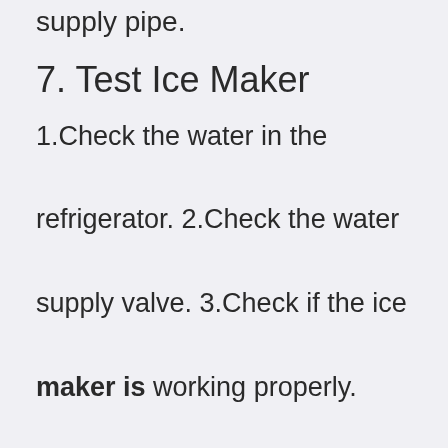supply pipe.
7. Test Ice Maker
1.Check the water in the refrigerator. 2.Check the water supply valve. 3.Check if the ice maker is working properly. 4.Check if the water level is low. 5.Check if the water inlet valve is